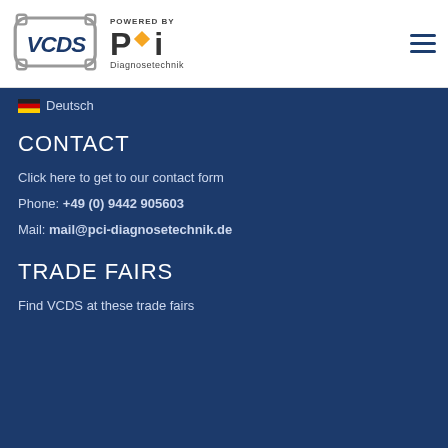[Figure (logo): VCDS logo and PCI Diagnosetechnik powered by logo in white header bar]
Deutsch
CONTACT
Click here to get to our contact form
Phone: +49 (0) 9442 905603
Mail: mail@pci-diagnosetechnik.de
TRADE FAIRS
Find VCDS at these trade fairs